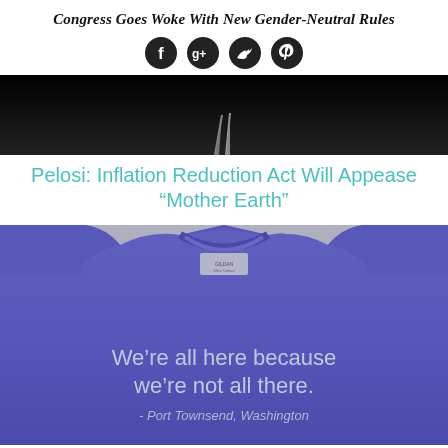Congress Goes Woke With New Gender-Neutral Rules
[Figure (other): Social media icons: Facebook, Google+, Twitter, Pinterest (dark circular buttons)]
[Figure (photo): Dark background image, top portion visible with what appears to be feathers or pencils at the bottom center]
Pelosi: Inflation Reduction Act Will Appease “Mother Earth”
[Figure (photo): Purple/blue t-shirt on a hanger with text reading: We're all here because we're not all there. - Port Townsend, Washington]